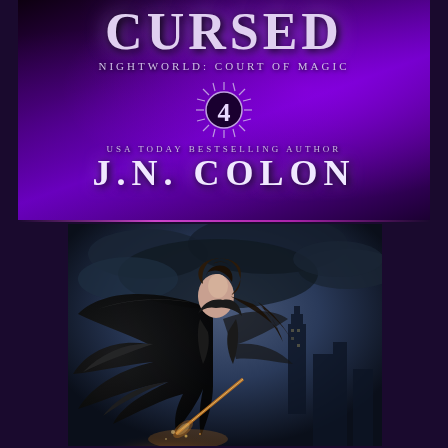[Figure (illustration): Book cover for 'Soul Cursed' (Nightworld: Court of Magic #4) by J.N. Colon, USA Today Bestselling Author. Top portion shows stylized fantasy title text on a dark purple smoky background with the number 4 in a sunburst badge. Bottom portion shows a woman with large black angel wings, long flowing dark hair, wearing dark clothing, holding a glowing weapon, set against a dramatic stormy city skyline.]